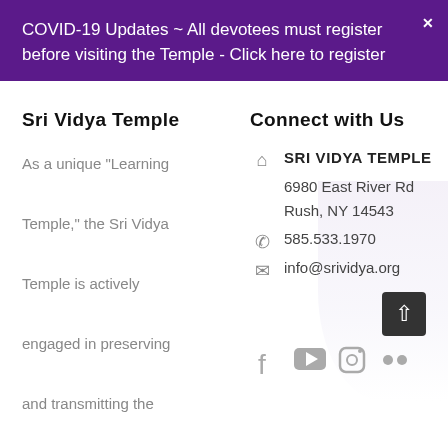COVID-19 Updates ~ All devotees must register before visiting the Temple - Click here to register
Sri Vidya Temple
As a unique “Learning Temple,” the Sri Vidya Temple is actively engaged in preserving and transmitting the auspicious knowledge of Sri Vidya as well as traditional Temple arts
Connect with Us
SRI VIDYA TEMPLE
6980 East River Rd
Rush, NY 14543
585.533.1970
info@srividya.org